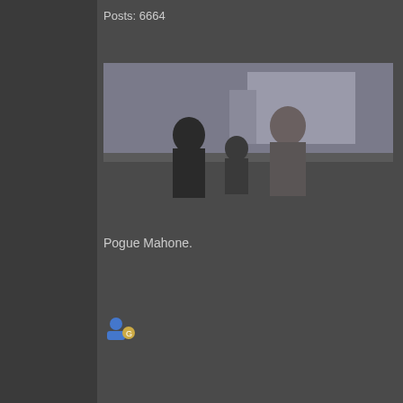Posts: 6664
[Figure (photo): A scene showing three people near a vehicle, appears to be a TV show or movie still]
Pogue Mahone.
[Figure (illustration): User icon / avatar badge]
Re: Que for the beli
« Reply #2 on: Janu 12, 2010 05:5 PM »
— I was goin to pos these que in the